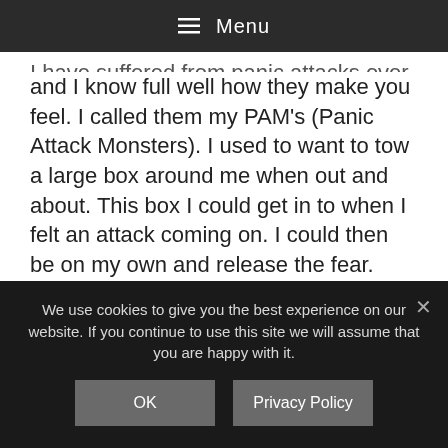☰ Menu
I have suffered from panic attacks over the years and I know full well how they make you feel. I called them my PAM's (Panic Attack Monsters). I used to want to tow a large box around me when out and about. This box I could get in to when I felt an attack coming on. I could then be on my own and release the fear.
Panic is a natural response to feeling stressed in dangerous situations. Everyone experiences feelings of anxiety to some extent at the...
We use cookies to give you the best experience on our website. If you continue to use this site we will assume that you are happy with it.